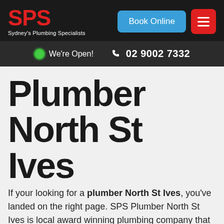SPS Sydney's Plumbing Specialists | Book Online | [menu]
We're Open! | 02 9002 7332
Plumber North St Ives
If your looking for a plumber North St Ives, you've landed on the right page. SPS Plumber North St Ives is local award winning plumbing company that prides itself on being an honest and reliable company.
Choosing the right plumbing company is important